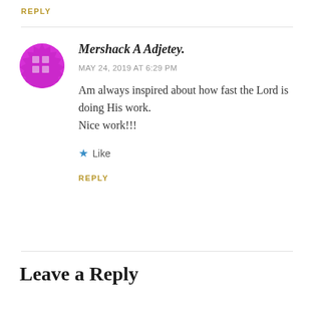REPLY
[Figure (illustration): Magenta/pink circular avatar with a grid/dots pattern in the center, resembling a WordPress default avatar]
Mershack A Adjetey.
MAY 24, 2019 AT 6:29 PM
Am always inspired about how fast the Lord is doing His work.
Nice work!!!
★ Like
REPLY
Leave a Reply